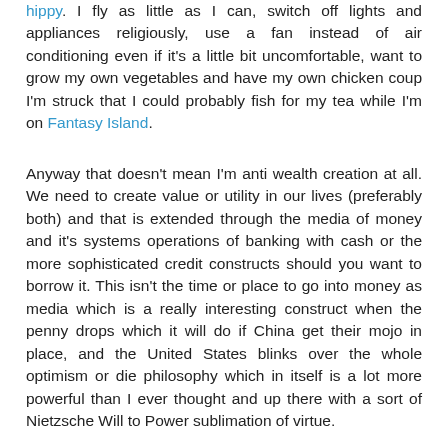hippy. I fly as little as I can, switch off lights and appliances religiously, use a fan instead of air conditioning even if it's a little bit uncomfortable, want to grow my own vegetables and have my own chicken coup I'm struck that I could probably fish for my tea while I'm on Fantasy Island.
Anyway that doesn't mean I'm anti wealth creation at all. We need to create value or utility in our lives (preferably both) and that is extended through the media of money and it's systems operations of banking with cash or the more sophisticated credit constructs should you want to borrow it. This isn't the time or place to go into money as media which is a really interesting construct when the penny drops which it will do if China get their mojo in place, and the United States blinks over the whole optimism or die philosophy which in itself is a lot more powerful than I ever thought and up there with a sort of Nietzsche Will to Power sublimation of virtue.
However, I love beauty, I frequently duck into designer shops...